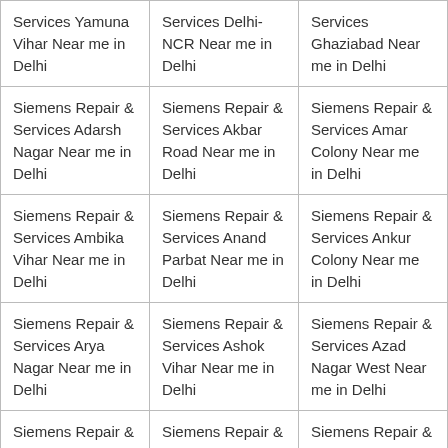| Services Yamuna Vihar Near me in Delhi | Services Delhi-NCR Near me in Delhi | Services Ghaziabad Near me in Delhi |
| Siemens Repair & Services Adarsh Nagar Near me in Delhi | Siemens Repair & Services Akbar Road Near me in Delhi | Siemens Repair & Services Amar Colony Near me in Delhi |
| Siemens Repair & Services Ambika Vihar Near me in Delhi | Siemens Repair & Services Anand Parbat Near me in Delhi | Siemens Repair & Services Ankur Colony Near me in Delhi |
| Siemens Repair & Services Arya Nagar Near me in Delhi | Siemens Repair & Services Ashok Vihar Near me in Delhi | Siemens Repair & Services Azad Nagar West Near me in Delhi |
| Siemens Repair & Services Babarpur West Near me in Delhi | Siemens Repair & Services Bahadur Shah Zafar Marg Near me in Delhi | Siemens Repair & Services Baljit Nagar Near me in Delhi |